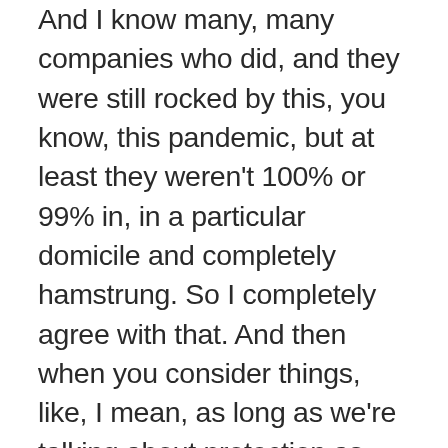And I know many, many companies who did, and they were still rocked by this, you know, this pandemic, but at least they weren't 100% or 99% in, in a particular domicile and completely hamstrung. So I completely agree with that. And then when you consider things, like, I mean, as long as we're talking about protection as policies, right? I mean, you think, you think we got it bad with aluminum between us and Canada. Um, you know, think about what we've got with China and China with so many other, um, right. And, and they are so far away, right. At least